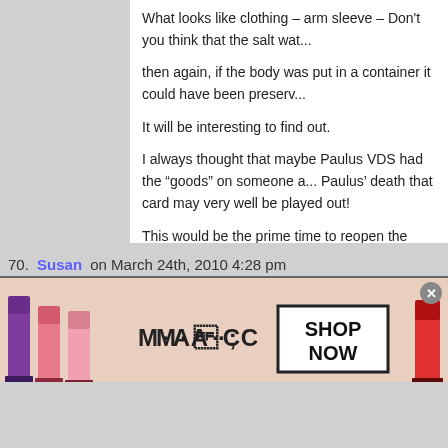What looks like clothing – arm sleeve – Don't you think that the salt wat... then again, if the body was put in a container it could have been preserv...
It will be interesting to find out.
I always thought that maybe Paulus VDS had the “goods” on someone a... Paulus’ death that card may very well be played out!
This would be the prime time to reopen the investigation.
Never Give up Hope – The Lord works in mysterious ways and things co...
JUSTICE FOR NATALEE! God bless and keep her family sane through a...
70. Susan on March 24th, 2010 4:28 pm
Natalee Holloway’s father asks Lancaster couple to speak out
Last Update: 11:21 am – 21 News
Search called off for possible remains of Natalee Holloway
[Figure (photo): MAC cosmetics advertisement showing lipsticks in purple, pink, and red colors with M·A·C logo and SHOP NOW button. A close button (x) appears at top right.]